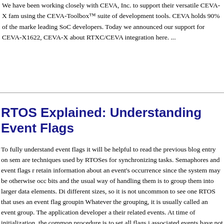We have been working closely with CEVA, Inc. to support their versatile CEVA-X family using the CEVA-Toolbox™ suite of development tools. CEVA holds 90% of the market of leading SoC developers. Today we announced our support for CEVA-X1622, CEVA-X about RTXC/CEVA integration here. ...
RTOS Explained: Understanding Event Flags
To fully understand event flags it will be helpful to read the previous blog entry on semaphores are techniques used by RTOSes for synchronizing tasks. Semaphores and event flags retain information about an event's occurrence since the system may be otherwise occupied. bits and the usual way of handling them is to group them into larger data elements. Different sizes, so it is not uncommon to see one RTOS that uses an event flag grouping. Whatever the grouping, it is usually called an event group. The application developer assigns their related events. At time of initialization, the common procedure is to set all flags indicating associated events have not occurred. From there on, the content of the event group at a shared tasks that use it and the operating system. The system may set a flag to indicate the event responsibility of the task to cause the flag to be reset. This shared responsibility exposes doesn't reset the flag before the next event arrives, an event can be lost, which can have